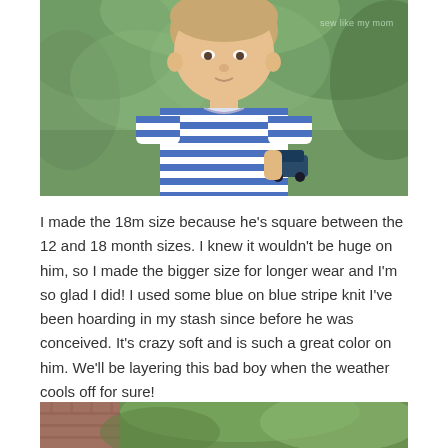[Figure (photo): A young toddler wearing a blue and white striped short-sleeve shirt, holding a toy car, photographed outdoors against a green blurred background. Watermark reads 'sew like my mom' in the upper right.]
I made the 18m size because he's square between the 12 and 18 month sizes. I knew it wouldn't be huge on him, so I made the bigger size for longer wear and I'm so glad I did! I used some blue on blue stripe knit I've been hoarding in my stash since before he was conceived. It's crazy soft and is such a great color on him. We'll be layering this bad boy when the weather cools off for sure!
[Figure (photo): Partial photo at the bottom of the page showing an outdoor scene with blurred background, brick and greenery visible.]